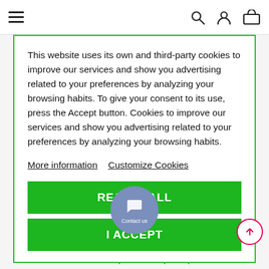Navigation header with hamburger menu, search, account, and cart icons
This website uses its own and third-party cookies to improve our services and show you advertising related to your preferences by analyzing your browsing habits. To give your consent to its use, press the Accept button. Cookies to improve our services and show you advertising related to your preferences by analyzing your browsing habits.
More information   Customize Cookies
REJECT ALL
I ACCEPT
Protractor / Semicircular square in transparent plastic with two-